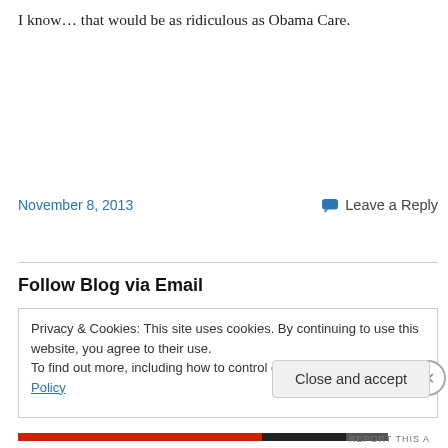I know… that would be as ridiculous as Obama Care.
November 8, 2013
Leave a Reply
Follow Blog via Email
Privacy & Cookies: This site uses cookies. By continuing to use this website, you agree to their use.
To find out more, including how to control cookies, see here: Cookie Policy
Close and accept